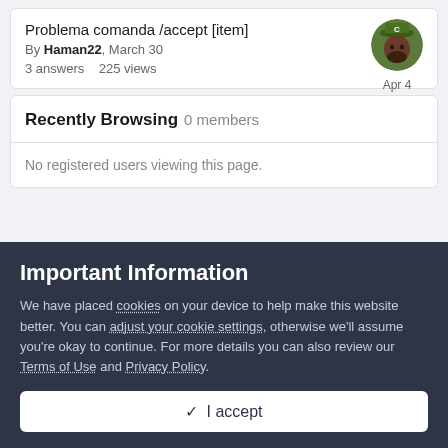Problema comanda /accept [item]
By Haman22, March 30
3 answers   225 views
Recently Browsing   0 members
No registered users viewing this page.
Important Information
We have placed cookies on your device to help make this website better. You can adjust your cookie settings, otherwise we'll assume you're okay to continue. For more details you can also review our Terms of Use and Privacy Policy.
✓ I accept